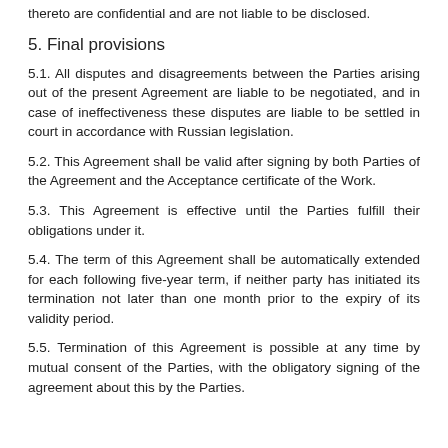thereto are confidential and are not liable to be disclosed.
5. Final provisions
5.1. All disputes and disagreements between the Parties arising out of the present Agreement are liable to be negotiated, and in case of ineffectiveness these disputes are liable to be settled in court in accordance with Russian legislation.
5.2. This Agreement shall be valid after signing by both Parties of the Agreement and the Acceptance certificate of the Work.
5.3. This Agreement is effective until the Parties fulfill their obligations under it.
5.4. The term of this Agreement shall be automatically extended for each following five-year term, if neither party has initiated its termination not later than one month prior to the expiry of its validity period.
5.5. Termination of this Agreement is possible at any time by mutual consent of the Parties, with the obligatory signing of the agreement about this by the Parties.